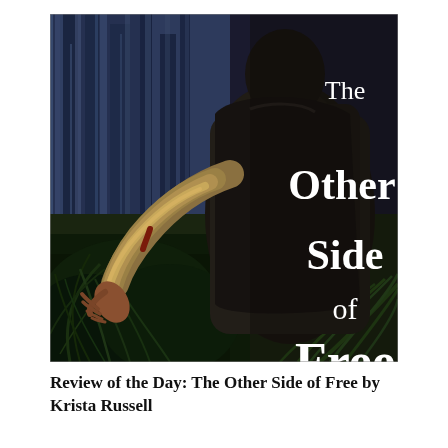[Figure (illustration): Book cover of 'The Other Side of Free' showing a person's back in dark clothing reaching toward trees in a swamp/forest setting. White text overlaid reads 'The Other Side of Free'.]
Review of the Day: The Other Side of Free by Krista Russell